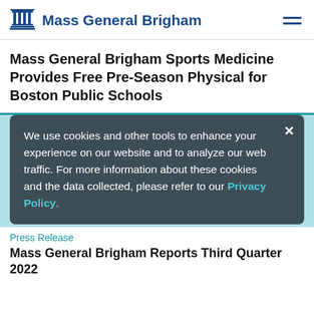Mass General Brigham
Mass General Brigham Sports Medicine Provides Free Pre-Season Physical for Boston Public Schools
[Figure (screenshot): Decorative bar chart illustration with teal bars on light blue background, partially obscured by a cookie consent banner.]
We use cookies and other tools to enhance your experience on our website and to analyze our web traffic. For more information about these cookies and the data collected, please refer to our Privacy Policy.
Press Release
Mass General Brigham Reports Third Quarter 2022